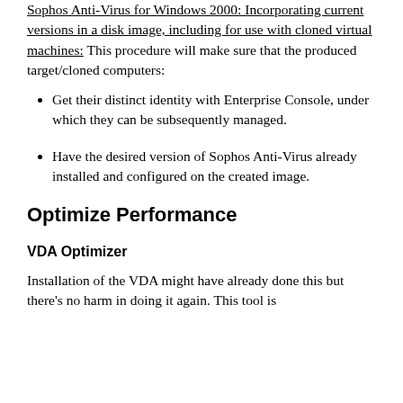Sophos Anti-Virus for Windows 2000: Incorporating current versions in a disk image, including for use with cloned virtual machines: This procedure will make sure that the produced target/cloned computers:
Get their distinct identity with Enterprise Console, under which they can be subsequently managed.
Have the desired version of Sophos Anti-Virus already installed and configured on the created image.
Optimize Performance
VDA Optimizer
Installation of the VDA might have already done this but there's no harm in doing it again. This tool is